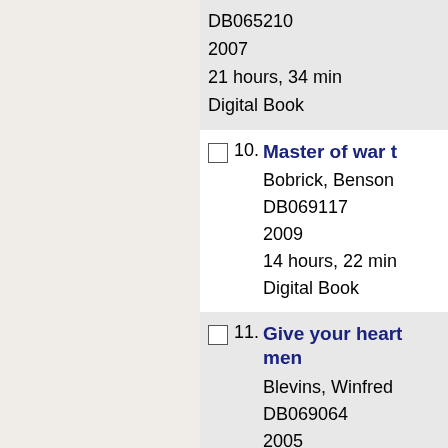DB065210
2007
21 hours, 34 min
Digital Book
10. Master of war t[ruly great commanders...]
Bobrick, Benson
DB069117
2009
14 hours, 22 min
Digital Book
11. Give your heart to the hawks: a tale of the mountain men
Blevins, Winfre[d]
DB069064
2005
12 hours, 51 min
Digital Book
12. American soldi[ers...]
Franks, Tommy,